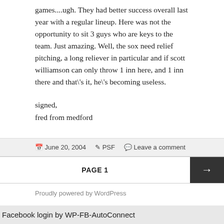games....ugh. They had better success overall last year with a regular lineup. Here was not the opportunity to sit 3 guys who are keys to the team. Just amazing. Well, the sox need relief pitching, a long reliever in particular and if scott williamson can only throw 1 inn here, and 1 inn there and that\'s it, he\'s becoming useless.
signed,
fred from medford
June 20, 2004   PSF   Leave a comment
PAGE 1
Proudly powered by WordPress
Facebook login by WP-FB-AutoConnect